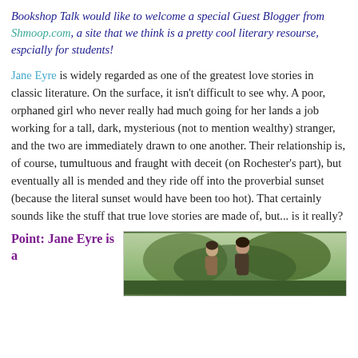Bookshop Talk would like to welcome a special Guest Blogger from Shmoop.com, a site that we think is a pretty cool literary resourse, espcially for students!
Jane Eyre is widely regarded as one of the greatest love stories in classic literature. On the surface, it isn't difficult to see why. A poor, orphaned girl who never really had much going for her lands a job working for a tall, dark, mysterious (not to mention wealthy) stranger, and the two are immediately drawn to one another. Their relationship is, of course, tumultuous and fraught with deceit (on Rochester's part), but eventually all is mended and they ride off into the proverbial sunset (because the literal sunset would have been too hot). That certainly sounds like the stuff that true love stories are made of, but... is it really?
Point: Jane Eyre is a
[Figure (photo): A photo of two people (a man and a woman) outdoors in a wooded/green setting, appearing to be from a film adaptation of Jane Eyre.]